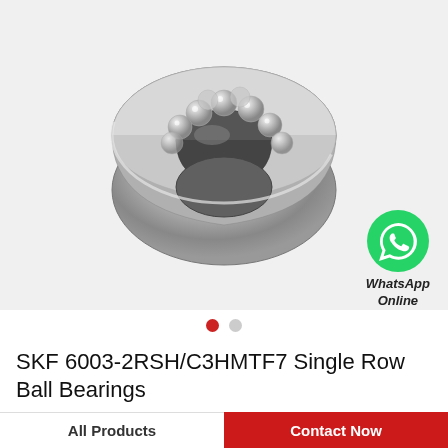[Figure (photo): Product photo of a SKF 6003-2RSH/C3HMTF7 single row ball bearing shown at an angle, silver metallic with visible ball bearings inside the race, on a light grey background.]
[Figure (logo): WhatsApp green circle icon with white phone handset, labeled 'WhatsApp Online' in bold italic text below.]
SKF 6003-2RSH/C3HMTF7 Single Row Ball Bearings
All Products
Contact Now